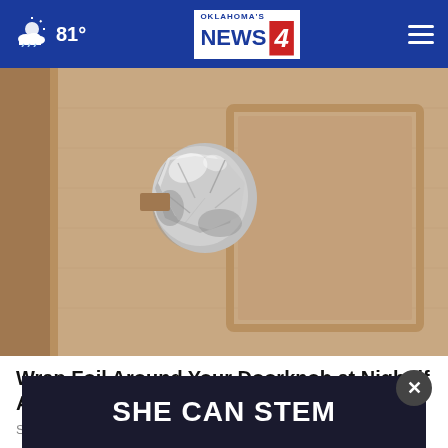81° Oklahoma's News 4
[Figure (photo): A door knob wrapped in aluminum/tin foil on a wooden door]
Wrap Foil Around Your Doorknob at Night if Alone, Here's Why
So go a…
[Figure (infographic): Dark banner advertisement reading SHE CAN STEM]